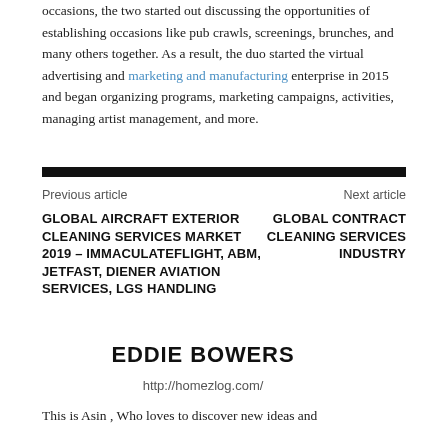occasions, the two started out discussing the opportunities of establishing occasions like pub crawls, screenings, brunches, and many others together. As a result, the duo started the virtual advertising and marketing and manufacturing enterprise in 2015 and began organizing programs, marketing campaigns, activities, managing artist management, and more.
Previous article
Next article
GLOBAL AIRCRAFT EXTERIOR CLEANING SERVICES MARKET 2019 – IMMACULATEFLIGHT, ABM, JETFAST, DIENER AVIATION SERVICES, LGS HANDLING
GLOBAL CONTRACT CLEANING SERVICES INDUSTRY
EDDIE BOWERS
http://homezlog.com/
This is Asin , Who loves to discover new ideas and